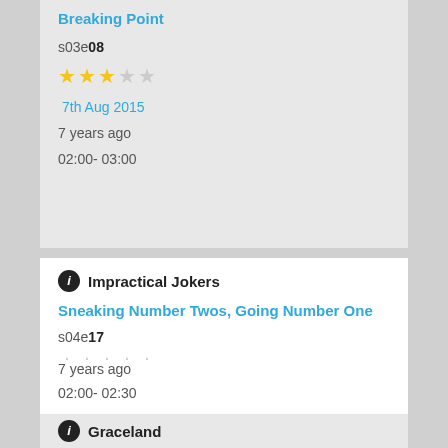Breaking Point
s03e08
[Figure (other): 3 filled gold stars and 2 empty stars rating]
7th Aug 2015
7 years ago
02:00- 03:00
Impractical Jokers
Sneaking Number Twos, Going Number One
s04e17
[Figure (other): 5 empty stars rating]
7th Aug 2015
7 years ago
02:00- 02:30
Graceland